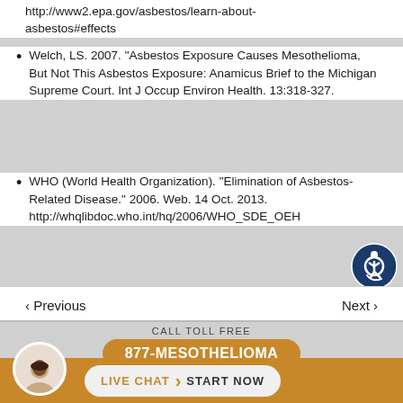http://www2.epa.gov/asbestos/learn-about-asbestos#effects
Welch, LS. 2007. “Asbestos Exposure Causes Mesothelioma, But Not This Asbestos Exposure: Anamicus Brief to the Michigan Supreme Court. Int J Occup Environ Health. 13:318-327.
WHO (World Health Organization). “Elimination of Asbestos-Related Disease.” 2006. Web. 14 Oct. 2013. http://whqlibdoc.who.int/hq/2006/WHO_SDE_OEH_06.03
< Previous   Next >
CALL TOLL FREE
877-MESOTHELIOMA
LIVE CHAT > START NOW